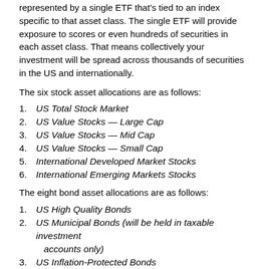represented by a single ETF that’s tied to an index specific to that asset class. The single ETF will provide exposure to scores or even hundreds of securities in each asset class. That means collectively your investment will be spread across thousands of securities in the US and internationally.
The six stock asset allocations are as follows:
1. US Total Stock Market
2. US Value Stocks — Large Cap
3. US Value Stocks — Mid Cap
4. US Value Stocks — Small Cap
5. International Developed Market Stocks
6. International Emerging Markets Stocks
The eight bond asset allocations are as follows:
1. US High Quality Bonds
2. US Municipal Bonds (will be held in taxable investment accounts only)
3. US Inflation-Protected Bonds